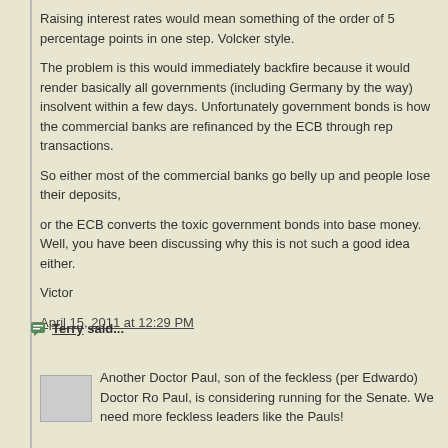Raising interest rates would mean something of the order of 5 percentage points in one step. Volcker style.
The problem is this would immediately backfire because it would render basically all governments (including Germany by the way) insolvent within a few days. Unfortunately government bonds is how the commercial banks are refinanced by the ECB through rep transactions.
So either most of the commercial banks go belly up and people lose their deposits,
or the ECB converts the toxic government bonds into base money. Well, you have been discussing why this is not such a good idea either.
Victor
April 15, 2011 at 12:29 PM
Terry said...
Another Doctor Paul, son of the feckless (per Edwardo) Doctor Ro Paul, is considering running for the Senate. We need more feckless leaders like the Pauls!